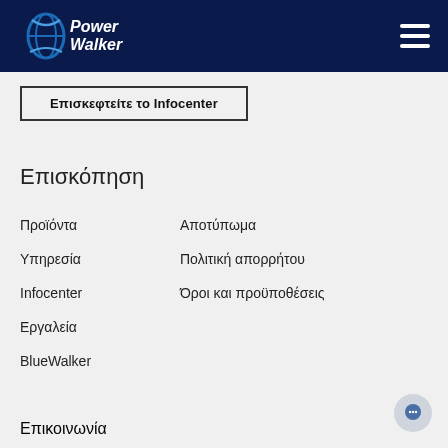[Figure (logo): PowerWalker logo on dark navy header bar with hamburger menu icon]
Επισκεφτείτε το Infocenter
Επισκόπηση
Προϊόντα
Αποτύπωμα
Υπηρεσία
Πολιτική απορρήτου
Infocenter
Όροι και προϋποθέσεις
Εργαλεία
BlueWalker
Επικοινωνία